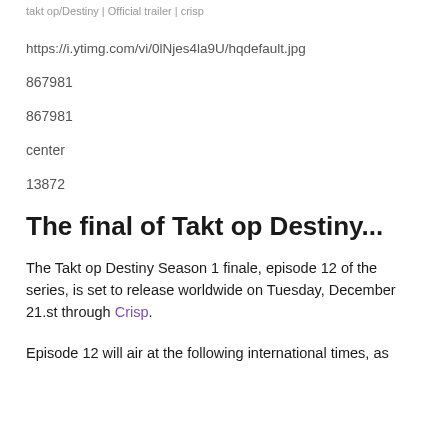takt op/Destiny | Official trailer | crisp
https://i.ytimg.com/vi/0lNjes4la9U/hqdefault.jpg
867981
867981
center
13872
The final of Takt op Destiny...
The Takt op Destiny Season 1 finale, episode 12 of the series, is set to release worldwide on Tuesday, December 21.st through Crisp.
Episode 12 will air at the following international times, as